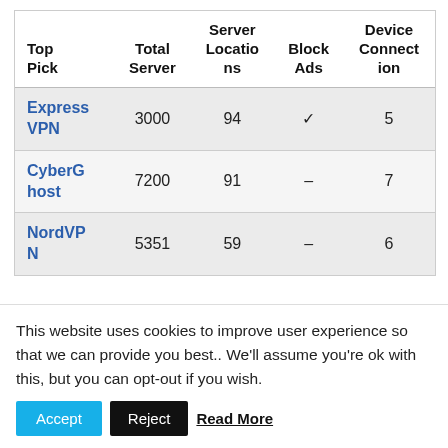| Top Pick | Total Server | Server Locations | Block Ads | Device Connection |
| --- | --- | --- | --- | --- |
| ExpressVPN | 3000 | 94 | ✓ | 5 |
| CyberGhost | 7200 | 91 | – | 7 |
| NordVPN | 5351 | 59 | – | 6 |
This website uses cookies to improve user experience so that we can provide you best.. We'll assume you're ok with this, but you can opt-out if you wish. Accept Reject Read More